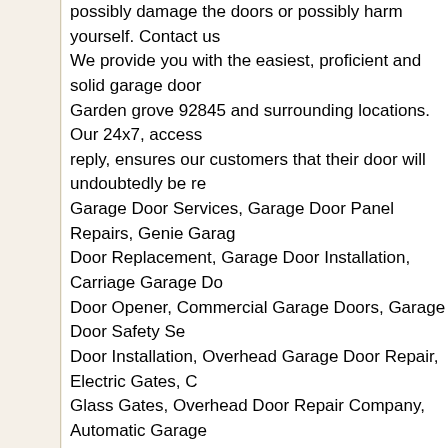possibly damage the doors or possibly harm yourself. Contact us We provide you with the easiest, proficient and solid garage door Garden grove 92845 and surrounding locations. Our 24x7, access reply, ensures our customers that their door will undoubtedly be re Garage Door Services, Garage Door Panel Repairs, Genie Garag Door Replacement, Garage Door Installation, Carriage Garage Do Door Opener, Commercial Garage Doors, Garage Door Safety Se Door Installation, Overhead Garage Door Repair, Electric Gates, C Glass Gates, Overhead Door Repair Company, Automatic Garage Opener Repair, Low Cost Garage Door Repair, Garage Door Ope Garage Door, Garage Door Lift Springs, Insulated Garage Door, B Affordable Overhead Door, Cheap Overhead Door, Fix Garage Do Garage Door Opener, All-wood Garage Doors, Metal Clad Garage Spring Repair, Garage Door Off Track, Repair Garage Openers, G Parts, Reliable Garage Door Repair Service, Overhead Doors, Fu Doors, Traditional Raised Panel Wood Doors, Genie Operator, Lo Companies, Iron Gates, Wood Carriage House Type Doors and m